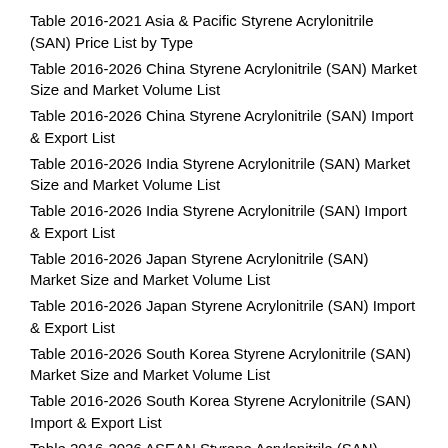Table 2016-2021 Asia & Pacific Styrene Acrylonitrile (SAN) Price List by Type
Table 2016-2026 China Styrene Acrylonitrile (SAN) Market Size and Market Volume List
Table 2016-2026 China Styrene Acrylonitrile (SAN) Import & Export List
Table 2016-2026 India Styrene Acrylonitrile (SAN) Market Size and Market Volume List
Table 2016-2026 India Styrene Acrylonitrile (SAN) Import & Export List
Table 2016-2026 Japan Styrene Acrylonitrile (SAN) Market Size and Market Volume List
Table 2016-2026 Japan Styrene Acrylonitrile (SAN) Import & Export List
Table 2016-2026 South Korea Styrene Acrylonitrile (SAN) Market Size and Market Volume List
Table 2016-2026 South Korea Styrene Acrylonitrile (SAN) Import & Export List
Table 2016-2026 ASEAN Styrene Acrylonitrile (SAN) Market Size List